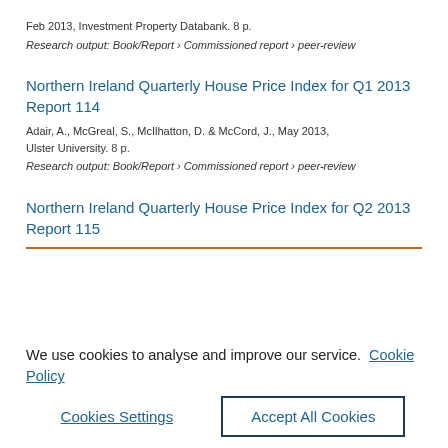Feb 2013, Investment Property Databank. 8 p.
Research output: Book/Report › Commissioned report › peer-review
Northern Ireland Quarterly House Price Index for Q1 2013 Report 114
Adair, A., McGreal, S., McIlhatton, D. & McCord, J., May 2013, Ulster University. 8 p.
Research output: Book/Report › Commissioned report › peer-review
Northern Ireland Quarterly House Price Index for Q2 2013 Report 115
We use cookies to analyse and improve our service.  Cookie Policy
Cookies Settings
Accept All Cookies